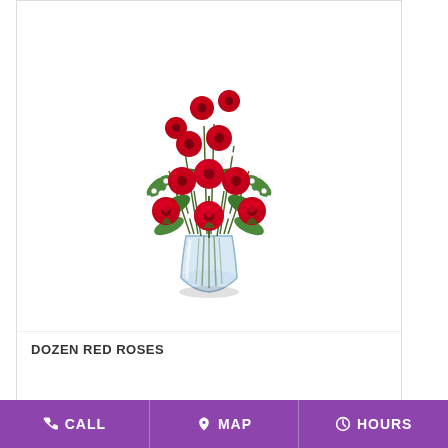[Figure (photo): Dozen red roses in a glass vase with baby's breath and green foliage, arranged in a round bouquet. The roses are deep red and the vase is clear glass showing the stems.]
DOZEN RED ROSES
BUY NOW
CALL   MAP   HOURS